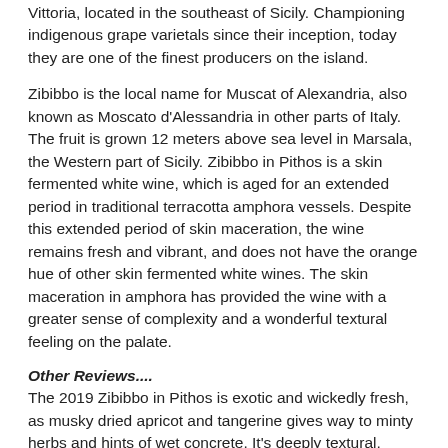Vittoria, located in the southeast of Sicily. Championing indigenous grape varietals since their inception, today they are one of the finest producers on the island.
Zibibbo is the local name for Muscat of Alexandria, also known as Moscato d'Alessandria in other parts of Italy. The fruit is grown 12 meters above sea level in Marsala, the Western part of Sicily. Zibibbo in Pithos is a skin fermented white wine, which is aged for an extended period in traditional terracotta amphora vessels. Despite this extended period of skin maceration, the wine remains fresh and vibrant, and does not have the orange hue of other skin fermented white wines. The skin maceration in amphora has provided the wine with a greater sense of complexity and a wonderful textural feeling on the palate.
Other Reviews....
The 2019 Zibibbo in Pithos is exotic and wickedly fresh, as musky dried apricot and tangerine gives way to minty herbs and hints of wet concrete. It's deeply textural, almost